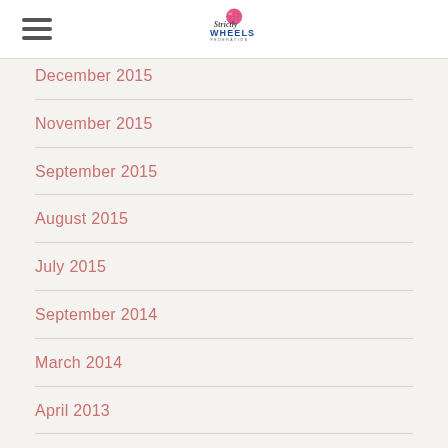Strictly Wheels Federation
December 2015
November 2015
September 2015
August 2015
July 2015
September 2014
March 2014
April 2013
March 2013
December 2012
October 2012